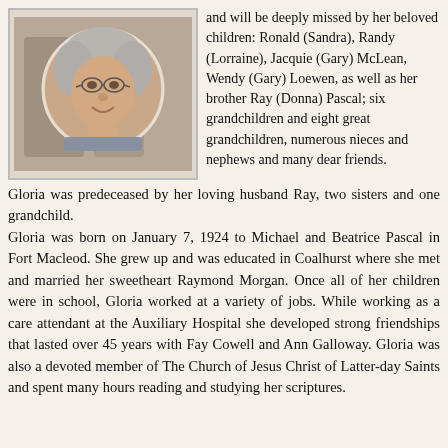[Figure (photo): Portrait photograph of an elderly woman with glasses and curly grey hair, displayed in a circular crop format, set within a rectangular framed box with a light brown/beige background.]
and will be deeply missed by her beloved children: Ronald (Sandra), Randy (Lorraine), Jacquie (Gary) McLean, Wendy (Gary) Loewen, as well as her brother Ray (Donna) Pascal; six grandchildren and eight great grandchildren, numerous nieces and nephews and many dear friends. Gloria was predeceased by her loving husband Ray, two sisters and one grandchild. Gloria was born on January 7, 1924 to Michael and Beatrice Pascal in Fort Macleod. She grew up and was educated in Coalhurst where she met and married her sweetheart Raymond Morgan. Once all of her children were in school, Gloria worked at a variety of jobs. While working as a care attendant at the Auxiliary Hospital she developed strong friendships that lasted over 45 years with Fay Cowell and Ann Galloway. Gloria was also a devoted member of The Church of Jesus Christ of Latter-day Saints and spent many hours reading and studying her scriptures.